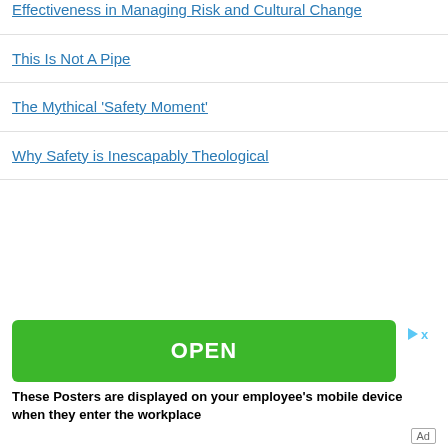Effectiveness in Managing Risk and Cultural Change
This Is Not A Pipe
The Mythical ‘Safety Moment’
Why Safety is Inescapably Theological
[Figure (screenshot): Green OPEN button advertisement with close (X) button]
These Posters are displayed on your employee’s mobile device when they enter the workplace
Ad